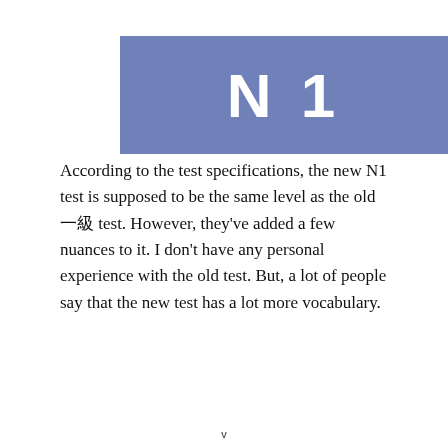N 1
According to the test specifications, the new N1 test is supposed to be the same level as the old 一級 test. However, they've added a few nuances to it. I don't have any personal experience with the old test. But, a lot of people say that the new test has a lot more vocabulary.
v